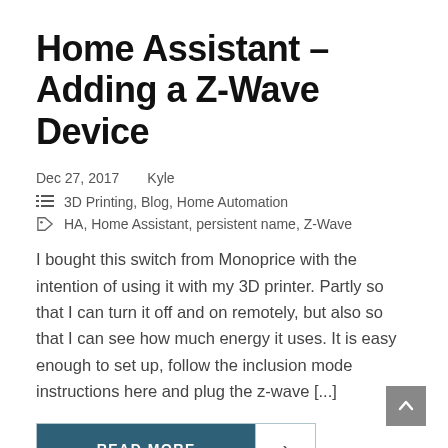Home Assistant – Adding a Z-Wave Device
Dec 27, 2017    Kyle
3D Printing, Blog, Home Automation
HA, Home Assistant, persistent name, Z-Wave
I bought this switch from Monoprice with the intention of using it with my 3D printer. Partly so that I can turn it off and on remotely, but also so that I can see how much energy it uses. It is easy enough to set up, follow the inclusion mode instructions here and plug the z-wave [...]
READ MORE